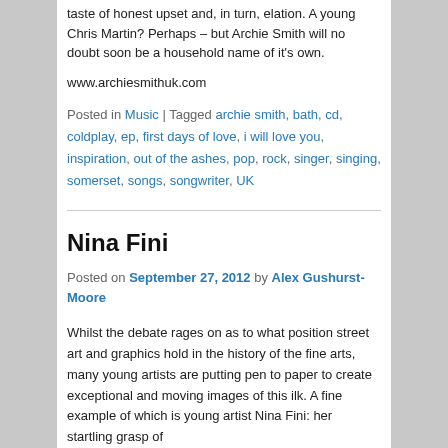taste of honest upset and, in turn, elation. A young Chris Martin? Perhaps – but Archie Smith will no doubt soon be a household name of it's own.
www.archiesmithuk.com
Posted in Music | Tagged archie smith, bath, cd, coldplay, ep, first days of love, i will love you, inspiration, out of the ashes, pop, rock, singer, singing, somerset, songs, songwriter, UK
Nina Fini
Posted on September 27, 2012 by Alex Gushurst-Moore
Whilst the debate rages on as to what position street art and graphics hold in the history of the fine arts, many young artists are putting pen to paper to create exceptional and moving images of this ilk. A fine example of which is young artist Nina Fini: her startling grasp of